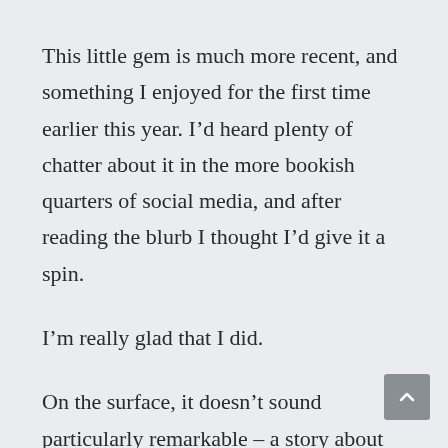This little gem is much more recent, and something I enjoyed for the first time earlier this year. I’d heard plenty of chatter about it in the more bookish quarters of social media, and after reading the blurb I thought I’d give it a spin.
I’m really glad that I did.
On the surface, it doesn’t sound particularly remarkable – a story about gentle folk, in particular two thirty-something men who are each still living with their parents (don’t knock